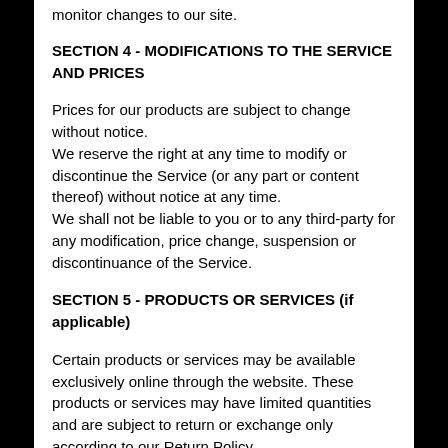monitor changes to our site.
SECTION 4 - MODIFICATIONS TO THE SERVICE AND PRICES
Prices for our products are subject to change without notice.
We reserve the right at any time to modify or discontinue the Service (or any part or content thereof) without notice at any time.
We shall not be liable to you or to any third-party for any modification, price change, suspension or discontinuance of the Service.
SECTION 5 - PRODUCTS OR SERVICES (if applicable)
Certain products or services may be available exclusively online through the website. These products or services may have limited quantities and are subject to return or exchange only according to our Return Policy.